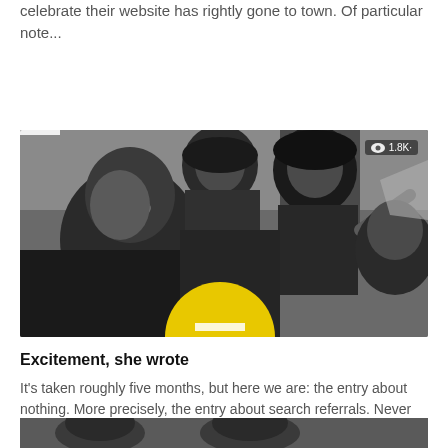celebrate their website has rightly gone to town. Of particular note...
[Figure (photo): Black and white photograph of several young people (appearing to be teenagers) with mop-top hairstyles, huddled together looking at something. One figure points at an object. A yellow circular shape is visible in the lower center. View count badge shows 1.8K in top right corner.]
Excitement, she wrote
It's taken roughly five months, but here we are: the entry about nothing. More precisely, the entry about search referrals. Never before...
[Figure (photo): Partial view of another black and white photograph at the bottom of the page, cropped.]